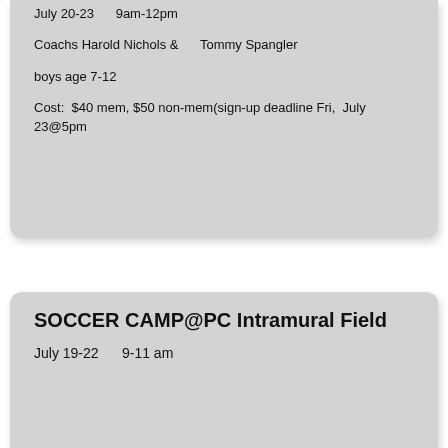July 20-23     9am-12pm
Coachs Harold Nichols &       Tommy Spangler
boys age 7-12
Cost:  $40 mem, $50 non-mem(sign-up deadline Fri,  July 23@5pm
SOCCER CAMP@PC Intramural Field
July 19-22     9-11 am